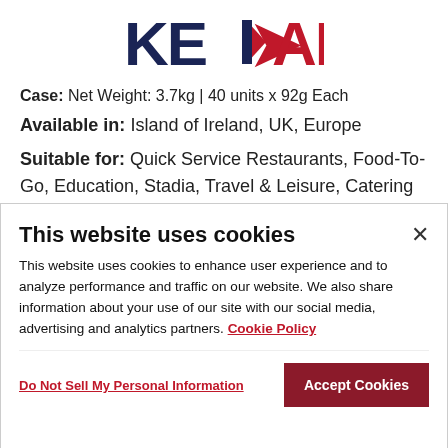[Figure (logo): Kepak logo with dark navy 'KE' text and red 'PAK' text with a stylized arrow/steer icon]
Case: Net Weight: 3.7kg | 40 units x 92g Each
Available in: Island of Ireland, UK, Europe
Suitable for: Quick Service Restaurants, Food-To-Go, Education, Stadia, Travel & Leisure, Catering
This website uses cookies
This website uses cookies to enhance user experience and to analyze performance and traffic on our website. We also share information about your use of our site with our social media, advertising and analytics partners. Cookie Policy
Do Not Sell My Personal Information
Accept Cookies